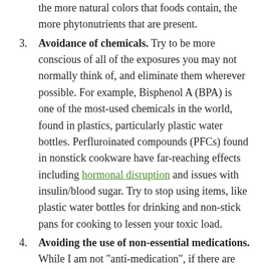the more natural colors that foods contain, the more phytonutrients that are present.
Avoidance of chemicals. Try to be more conscious of all of the exposures you may not normally think of, and eliminate them wherever possible. For example, Bisphenol A (BPA) is one of the most-used chemicals in the world, found in plastics, particularly plastic water bottles. Perfluroinated compounds (PFCs) found in nonstick cookware have far-reaching effects including hormonal disruption and issues with insulin/blood sugar. Try to stop using items, like plastic water bottles for drinking and non-stick pans for cooking to lessen your toxic load.
Avoiding the use of non-essential medications. While I am not "anti-medication", if there are more natural alternatives, including diet and exercise,